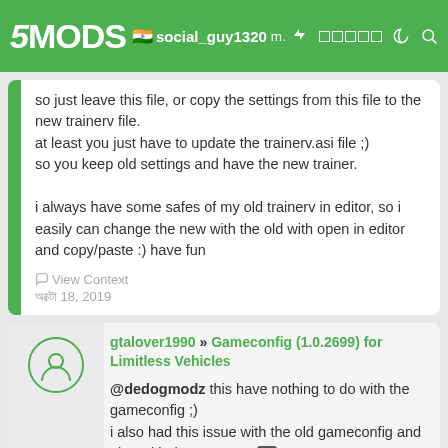5MODS | social_guy1320 most settings you... in the trainer file ...
so just leave this file, or copy the settings from this file to the new trainerv file.
at least you just have to update the trainerv.asi file ;)
so you keep old settings and have the new trainer.

i always have some safes of my old trainerv in editor, so i easily can change the new with the old with open in editor and copy/paste :) have fun
View Context
অক্টো 18, 2019
gtalover1990 » Gameconfig (1.0.2699) for Limitless Vehicles
@dedogmodz this have nothing to do with the gameconfig ;)
i also had this issue with the old gameconfig and also with the new one,
but you need to update your files, it will not dissapear then, and better update your trainer, too.